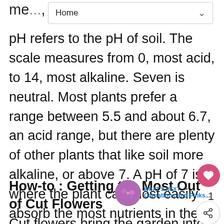Home
me..., pH refers to the pH of soil. The scale measures from 0, most acid, to 14, most alkaline. Seven is neutral. Most plants prefer a range between 5.5 and about 6.7, an acid range, but there are plenty of other plants that like soil more alkaline, or above 7. A pH of 7 is where the plant can most easily absorb the most nutrients in the soil. Some plants prefer more or less of certain nutrients, and therefore do better at a certain pH.
How-to : Getting the Most Out of Cut Flowers
Cut flowers bring the garden into your home.